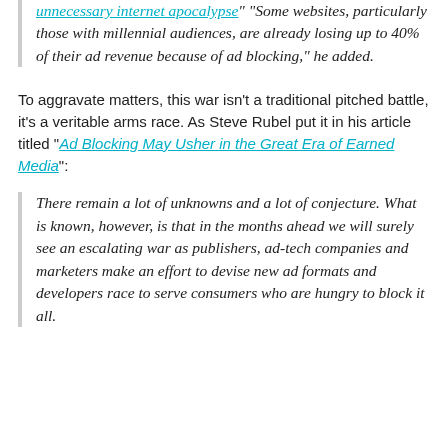unnecessary internet apocalypse” “Some websites, particularly those with millennial audiences, are already losing up to 40% of their ad revenue because of ad blocking,” he added.
To aggravate matters, this war isn't a traditional pitched battle, it's a veritable arms race. As Steve Rubel put it in his article titled “Ad Blocking May Usher in the Great Era of Earned Media”:
There remain a lot of unknowns and a lot of conjecture. What is known, however, is that in the months ahead we will surely see an escalating war as publishers, ad-tech companies and marketers make an effort to devise new ad formats and developers race to serve consumers who are hungry to block it all.